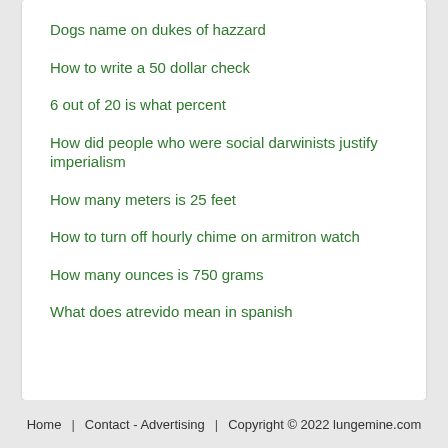Dogs name on dukes of hazzard
How to write a 50 dollar check
6 out of 20 is what percent
How did people who were social darwinists justify imperialism
How many meters is 25 feet
How to turn off hourly chime on armitron watch
How many ounces is 750 grams
What does atrevido mean in spanish
Home   Contact - Advertising   Copyright © 2022 lungemine.com